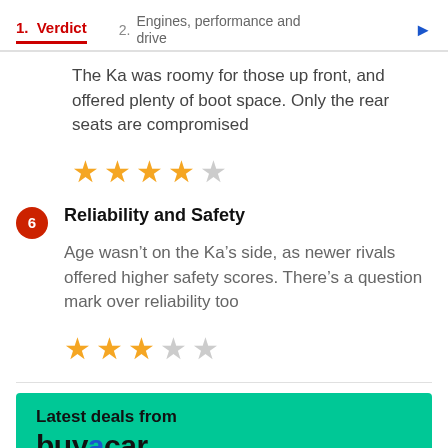1. Verdict  2. Engines, performance and drive
The Ka was roomy for those up front, and offered plenty of boot space. Only the rear seats are compromised
[Figure (other): 4 out of 5 stars rating: 4 filled gold stars, 1 empty grey star]
6  Reliability and Safety
Age wasn’t on the Ka’s side, as newer rivals offered higher safety scores. There’s a question mark over reliability too
[Figure (other): 3 out of 5 stars rating: 3 filled gold stars, 2 empty grey stars]
[Figure (infographic): Latest deals from buyacar banner on green background]